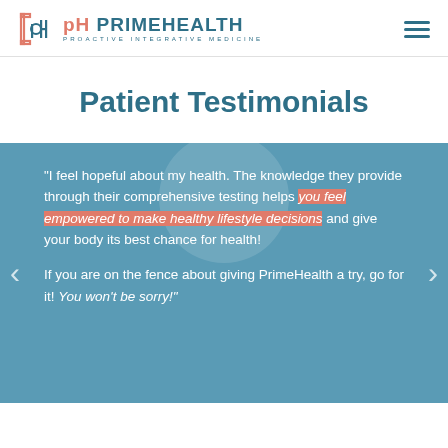PRIMEHEALTH — Proactive Integrative Medicine (logo + navigation)
Patient Testimonials
"I feel hopeful about my health. The knowledge they provide through their comprehensive testing helps you feel empowered to make healthy lifestyle decisions and give your body its best chance for health! If you are on the fence about giving PrimeHealth a try, go for it! You won't be sorry!"